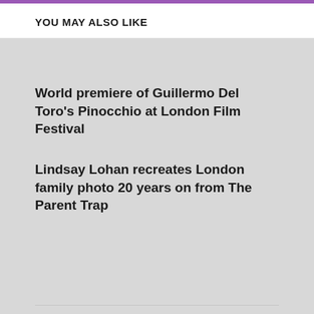YOU MAY ALSO LIKE
World premiere of Guillermo Del Toro's Pinocchio at London Film Festival
Lindsay Lohan recreates London family photo 20 years on from The Parent Trap